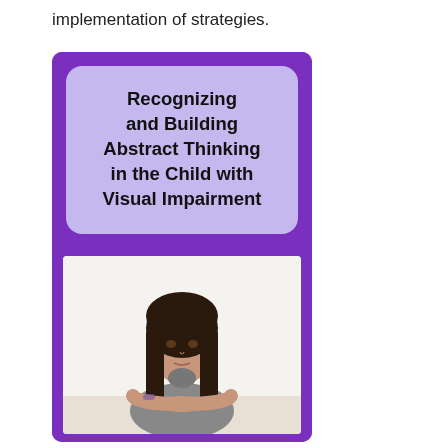implementation of strategies.
[Figure (illustration): Book cover / educational resource card with purple background. Top section contains a light purple rounded rectangle with bold text: 'Recognizing and Building Abstract Thinking in the Child with Visual Impairment'. Bottom section contains a white-background photo of a teenage girl with dark hair wearing a gray top, resting her arms on a surface and looking upward thoughtfully.]